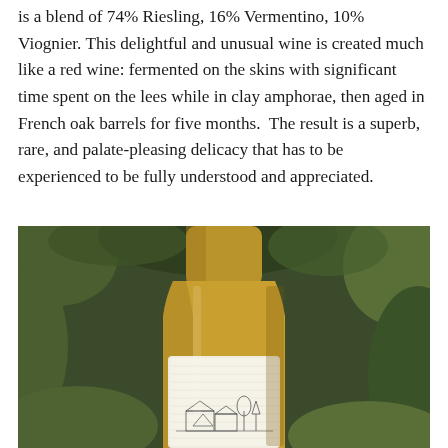is a blend of 74% Riesling, 16% Vermentino, 10% Viognier. This delightful and unusual wine is created much like a red wine: fermented on the skins with significant time spent on the lees while in clay amphorae, then aged in French oak barrels for five months.  The result is a superb, rare, and palate-pleasing delicacy that has to be experienced to be fully understood and appreciated.
[Figure (photo): Close-up photo of a wine bottle with a white label featuring an etched illustration of a farmstead/winery building. The bottle is amber/golden in color and is surrounded by green foliage in the background.]